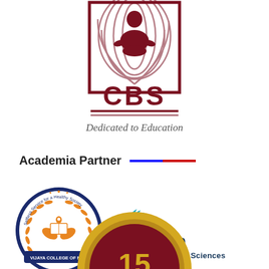[Figure (logo): CBS logo — a meditating figure inside a square with concentric arcs, bold letters CBS below with two horizontal lines, italic tagline 'Dedicated to Education']
Academia Partner
[Figure (logo): Vijaya College of Nursing circular badge logo with orange wreath and hands holding books, blue ribbon at bottom reading 'VIJAYA COLLEGE OF NU...']
[Figure (logo): Dharan Institute of Health Sciences logo with teal leaf/wave icon and bold dark blue text 'Dharan Institute of Health Sciences']
[Figure (illustration): Gold medal/badge partially visible at bottom with stars and number 15 or partial number visible]